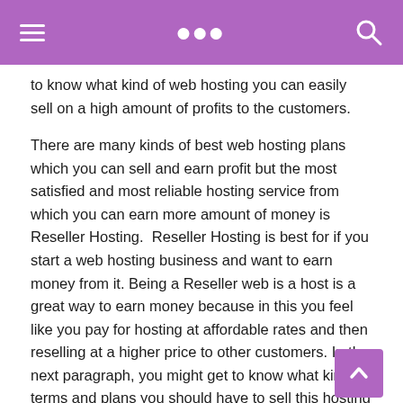navigation bar with hamburger menu and search icon
to know what kind of web hosting you can easily sell on a high amount of profits to the customers.
There are many kinds of best web hosting plans which you can sell and earn profit but the most satisfied and most reliable hosting service from which you can earn more amount of money is Reseller Hosting.  Reseller Hosting is best for if you start a web hosting business and want to earn money from it. Being a Reseller web is a host is a great way to earn money because in this you feel like you pay for hosting at affordable rates and then reselling at a higher price to other customers. In the next paragraph, you might get to know what kind of terms and plans you should have to sell this hosting and earn money from it.
How do you become a web hosting reseller and earn